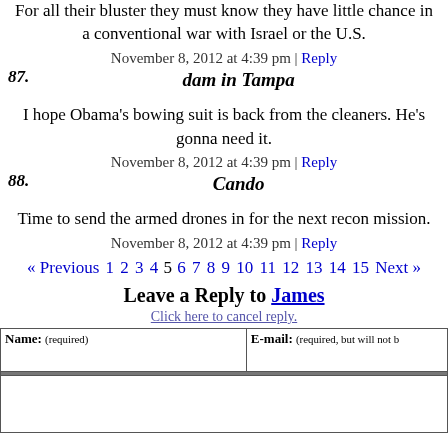For all their bluster they must know they have little chance in a conventional war with Israel or the U.S.
November 8, 2012 at 4:39 pm | Reply
87. dam in Tampa
I hope Obama's bowing suit is back from the cleaners. He's gonna need it.
November 8, 2012 at 4:39 pm | Reply
88. Cando
Time to send the armed drones in for the next recon mission.
November 8, 2012 at 4:39 pm | Reply
« Previous 1 2 3 4 5 6 7 8 9 10 11 12 13 14 15 Next »
Leave a Reply to James
Click here to cancel reply.
| Name: (required) | E-mail: (required, but will not b... |
| --- | --- |
|  |  |